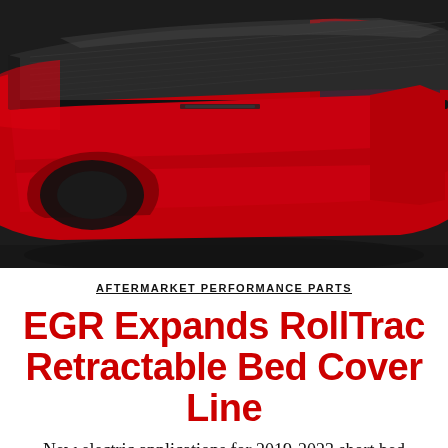[Figure (photo): Close-up photograph of a red pickup truck with a black EGR RollTrac retractable bed cover installed on the truck bed, viewed from a rear three-quarter angle against a dark background.]
AFTERMARKET PERFORMANCE PARTS
EGR Expands RollTrac Retractable Bed Cover Line
New electric applications for 2019-2023 short bed